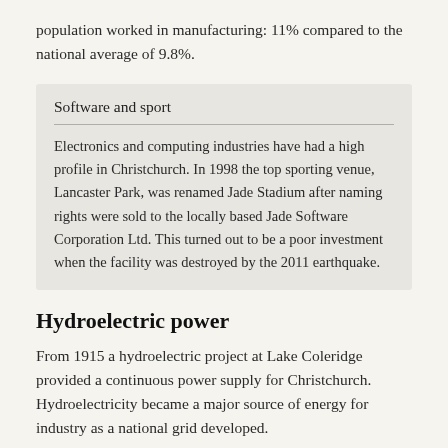population worked in manufacturing: 11% compared to the national average of 9.8%.
Software and sport
Electronics and computing industries have had a high profile in Christchurch. In 1998 the top sporting venue, Lancaster Park, was renamed Jade Stadium after naming rights were sold to the locally based Jade Software Corporation Ltd. This turned out to be a poor investment when the facility was destroyed by the 2011 earthquake.
Hydroelectric power
From 1915 a hydroelectric project at Lake Coleridge provided a continuous power supply for Christchurch. Hydroelectricity became a major source of energy for industry as a national grid developed.